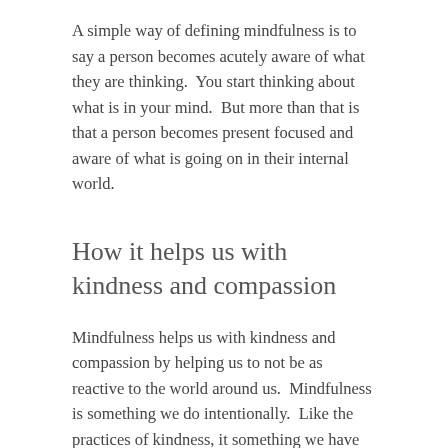A simple way of defining mindfulness is to say a person becomes acutely aware of what they are thinking.  You start thinking about what is in your mind.  But more than that is that a person becomes present focused and aware of what is going on in their internal world.
How it helps us with kindness and compassion
Mindfulness helps us with kindness and compassion by helping us to not be as reactive to the world around us.  Mindfulness is something we do intentionally.  Like the practices of kindness, it something we have to cultivate.
Kindness and compassion for themselves